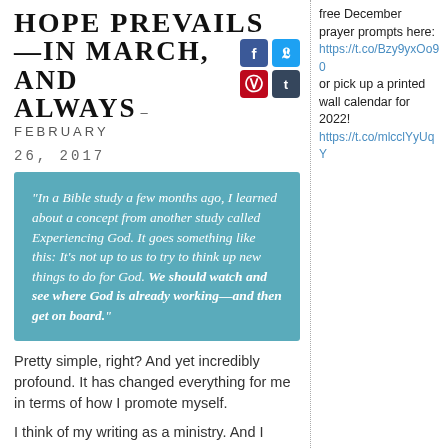HOPE PREVAILS —IN MARCH, AND ALWAYS – FEBRUARY 26, 2017
“In a Bible study a few months ago, I learned about a concept from another study called Experiencing God. It goes something like this: It’s not up to us to try to think up new things to do for God. We should watch and see where God is already working—and then get on board.”
Pretty simple, right? And yet incredibly profound. It has changed everything for me in terms of how I promote myself.
I think of my writing as a ministry. And I
free December prayer prompts here:
https://t.co/Bzy9yxOo90
or pick up a printed wall calendar for 2022!
https://t.co/mlcclYyUqY